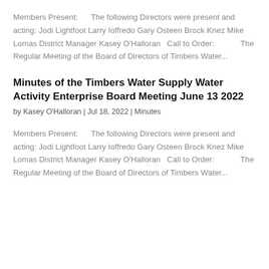Members Present:      The following Directors were present and acting: Jodi Lightfoot Larry Ioffredo Gary Osteen Brock Knez Mike Lomas District Manager Kasey O'Halloran   Call to Order:            The Regular Meeting of the Board of Directors of Timbers Water...
Minutes of the Timbers Water Supply Water Activity Enterprise Board Meeting June 13 2022
by Kasey O'Halloran | Jul 18, 2022 | Minutes
Members Present:      The following Directors were present and acting: Jodi Lightfoot Larry Ioffredo Gary Osteen Brock Knez Mike Lomas District Manager Kasey O'Halloran   Call to Order:            The Regular Meeting of the Board of Directors of Timbers Water...